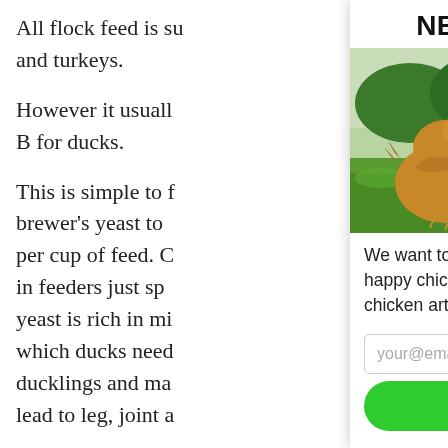All flock feed is su and turkeys.

However it usuall B for ducks.

This is simple to f brewer's yeast to per cup of feed. C in feeders just sp yeast is rich in mi which ducks neec ducklings and ma lead to leg, joint a
NEWSLETTER!
[Figure (photo): Photo of three golden-brown chickens standing in green grass outdoors with trees in background]
We want to help you raise healthy, happy chickens. Get our best backyard chicken articles delivered to your inbox:
your@email.com
JOIN NOW